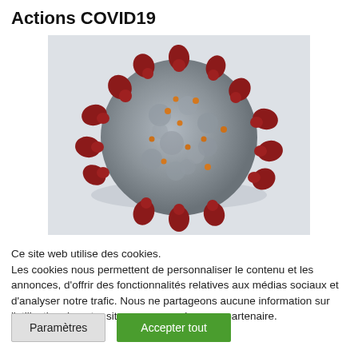Actions COVID19
[Figure (photo): 3D microscopic illustration of a coronavirus particle (SARS-CoV-2) showing grey spherical body with dark red spike proteins and small orange dots on the surface, on a light grey/white background.]
Ce site web utilise des cookies.
Les cookies nous permettent de personnaliser le contenu et les annonces, d'offrir des fonctionnalités relatives aux médias sociaux et d'analyser notre trafic. Nous ne partageons aucune information sur l'utilisation de notre site avec un quelconque partenaire.
Paramètres
Accepter tout